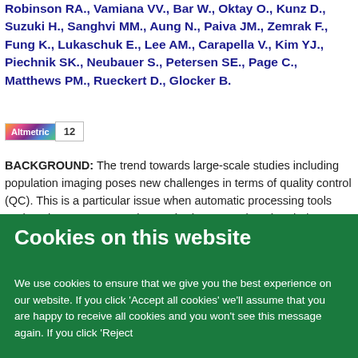Robinson RA., Vamaria VV., Bar W., Oktay O., Kunz D., Suzuki H., Sanghvi MM., Aung N., Paiva JM., Zemrak F., Fung K., Lukaschuk E., Lee AM., Carapella V., Kim YJ., Piechnik SK., Neubauer S., Petersen SE., Page C., Matthews PM., Rueckert D., Glocker B.
[Figure (other): Altmetric badge showing score of 12]
BACKGROUND: The trend towards large-scale studies including population imaging poses new challenges in terms of quality control (QC). This is a particular issue when automatic processing tools such as image segmentation methods are employed to derive quantitative measures or
Cookies on this website
We use cookies to ensure that we give you the best experience on our website. If you click 'Accept all cookies' we'll assume that you are happy to receive all cookies and you won't see this message again. If you click 'Reject